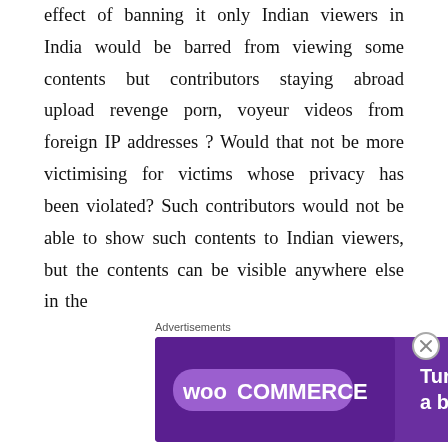effect of banning it only Indian viewers in India would be barred from viewing some contents but contributors staying abroad upload revenge porn, voyeur videos from foreign IP addresses ? Would that not be more victimising for victims whose privacy has been violated? Such contributors would not be able to show such contents to Indian viewers, but the contents can be visible anywhere else in the
Advertisements
[Figure (illustration): WooCommerce advertisement banner with purple background, teal and orange geometric shapes, WooCommerce logo on left, text 'Turn your hobby into a business in 8 steps' on right]